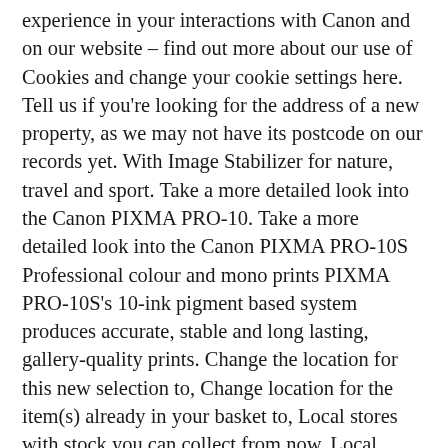experience in your interactions with Canon and on our website – find out more about our use of Cookies and change your cookie settings here. Tell us if you're looking for the address of a new property, as we may not have its postcode on our records yet. With Image Stabilizer for nature, travel and sport. Take a more detailed look into the Canon PIXMA PRO-10. Take a more detailed look into the Canon PIXMA PRO-10S Professional colour and mono prints PIXMA PRO-10S's 10-ink pigment based system produces accurate, stable and long lasting, gallery-quality prints. Change the location for this new selection to, Change location for the item(s) already in your basket to, Local stores with stock you can collect from now, Local stores you can get items sent to for you to collect later, Enter a town or postcode in the box on the product page for an item you've selected, Review the delivery and collection options local to you – just click on any one to add it to your basket. Let us know you plan to return